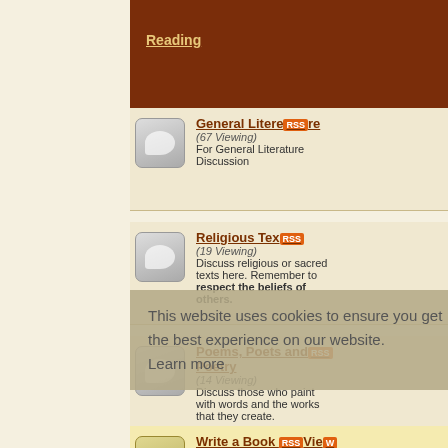| Reading | Threads / Posts | Last Post |
| --- | --- | --- |
| General Literature (67 Viewing) For General Literature Discussion | Threads: 9,151 Posts: 144,533 | Theology and Geometry"... by hellsapoppin 06-03-2022, 11:41 PM |
| Religious Texts (19 Viewing) Discuss religious or sacred texts here. Remember to respect the beliefs of others. | Threads: 1,285 Posts: 44,059 | Thomas' Gospel. by MANICHAEAN 05-16-2022, 01:33 AM |
| Poems, Poets and Poetry (14 Viewing) Discuss those who paint with words and the works that they create. | Threads: 2,388 Posts: 26,132 | If you were to read a poem... by cacian 07-23-2022, 08:15 PM |
| Write a Book Review (5 Viewing) Want to review a book you just read? Start a new thread in this forum and | Threads: 638 Posts: 4,096 | Thomas Carlyle "The French... by MANICHAEAN |
This website uses cookies to ensure you get the best experience on our website. Learn more
[Figure (screenshot): Right sidebar with user avatars and links including Write, Cock, Write, Alpha, Cock, Write sections with Today timestamps]